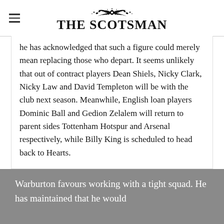THE SCOTSMAN
he has acknowledged that such a figure could merely mean replacing those who depart. It seems unlikely that out of contract players Dean Shiels, Nicky Clark, Nicky Law and David Templeton will be with the club next season. Meanwhile, English loan players Dominic Ball and Gedion Zelalem will return to parent sides Tottenham Hotspur and Arsenal respectively, while Billy King is scheduled to head back to Hearts.
Warburton favours working with a tight squad. He has maintained that he would